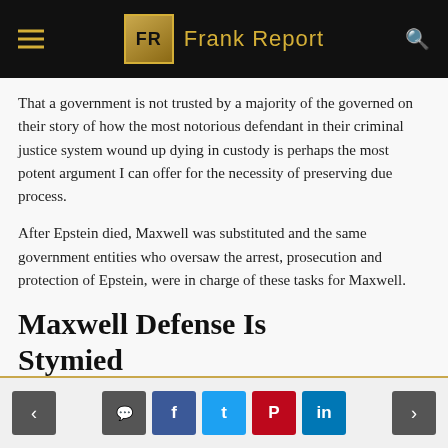FR Frank Report
That a government is not trusted by a majority of the governed on their story of how the most notorious defendant in their criminal justice system wound up dying in custody is perhaps the most potent argument I can offer for the necessity of preserving due process.
After Epstein died, Maxwell was substituted and the same government entities who oversaw the arrest, prosecution and protection of Epstein, were in charge of these tasks for Maxwell.
Maxwell Defense Is Stymied